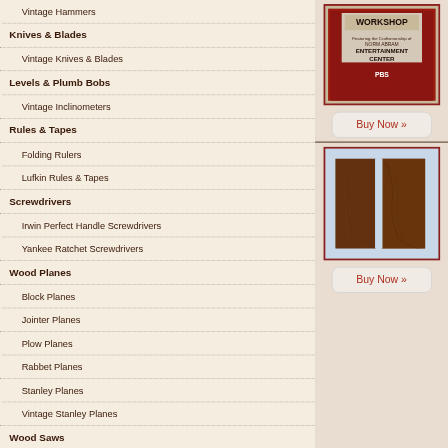Vintage Hammers
Knives & Blades
Vintage Knives & Blades
Levels & Plumb Bobs
Vintage Inclinometers
Rules & Tapes
Folding Rulers
Lufkin Rules & Tapes
Screwdrivers
Irwin Perfect Handle Screwdrivers
Yankee Ratchet Screwdrivers
Wood Planes
Block Planes
Jointer Planes
Plow Planes
Rabbet Planes
Stanley Planes
Vintage Stanley Planes
Wood Saws
Disston Saws
[Figure (photo): A PBS Workshop book/DVD cover featuring Norman Abram Entertainment Center]
Buy Now »
[Figure (photo): Two pieces of figured wood (bookmatched wood blanks) on a light blue background]
Buy Now »